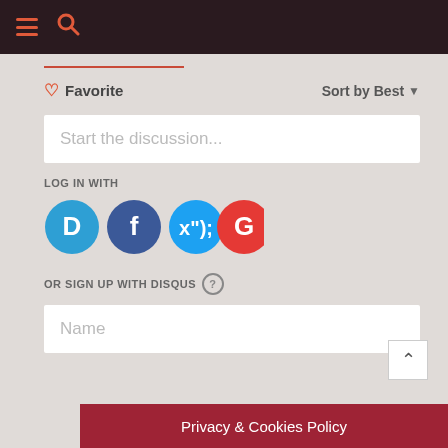[Figure (screenshot): Top navigation bar with dark background, hamburger menu icon and search icon in coral/red color]
Favorite
Sort by Best
Start the discussion...
LOG IN WITH
[Figure (infographic): Four social login icons: Disqus (D, light blue), Facebook (f, dark blue), Twitter (bird, light blue), Google (G, red)]
OR SIGN UP WITH DISQUS ?
Name
Be the first to comment.
Privacy & Cookies Policy